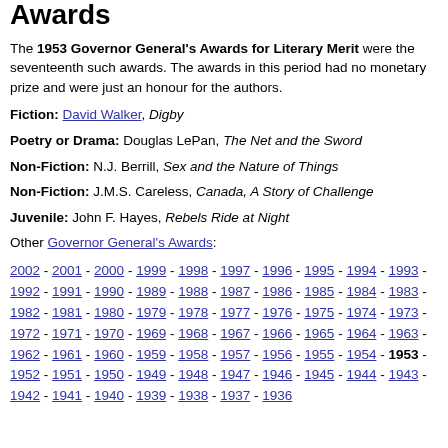Awards
The 1953 Governor General's Awards for Literary Merit were the seventeenth such awards. The awards in this period had no monetary prize and were just an honour for the authors.
Fiction: David Walker, Digby
Poetry or Drama: Douglas LePan, The Net and the Sword
Non-Fiction: N.J. Berrill, Sex and the Nature of Things
Non-Fiction: J.M.S. Careless, Canada, A Story of Challenge
Juvenile: John F. Hayes, Rebels Ride at Night
Other Governor General's Awards:
2002 - 2001 - 2000 - 1999 - 1998 - 1997 - 1996 - 1995 - 1994 - 1993 - 1992 - 1991 - 1990 - 1989 - 1988 - 1987 - 1986 - 1985 - 1984 - 1983 - 1982 - 1981 - 1980 - 1979 - 1978 - 1977 - 1976 - 1975 - 1974 - 1973 - 1972 - 1971 - 1970 - 1969 - 1968 - 1967 - 1966 - 1965 - 1964 - 1963 - 1962 - 1961 - 1960 - 1959 - 1958 - 1957 - 1956 - 1955 - 1954 - 1953 - 1952 - 1951 - 1950 - 1949 - 1948 - 1947 - 1946 - 1945 - 1944 - 1943 - 1942 - 1941 - 1940 - 1939 - 1938 - 1937 - 1936